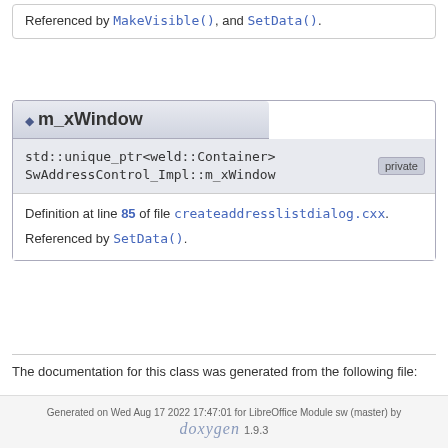Referenced by MakeVisible(), and SetData().
m_xWindow
std::unique_ptr<weld::Container> SwAddressControl_Impl::m_xWindow [private]
Definition at line 85 of file createaddresslistdialog.cxx.
Referenced by SetData().
The documentation for this class was generated from the following file:
createaddresslistdialog.cxx
Generated on Wed Aug 17 2022 17:47:01 for LibreOffice Module sw (master) by doxygen 1.9.3